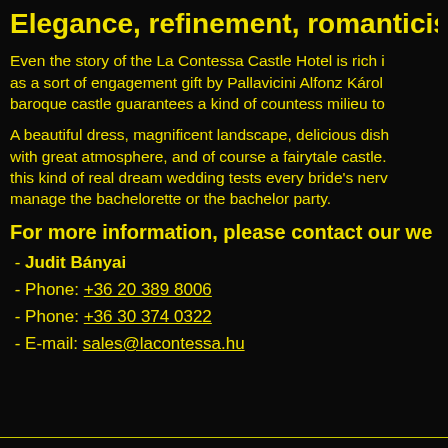Elegance, refinement, romanticism
Even the story of the La Contessa Castle Hotel is rich in... as a sort of engagement gift by Pallavicini Alfonz Károly... baroque castle guarantees a kind of countess milieu to...
A beautiful dress, magnificent landscape, delicious dish... with great atmosphere, and of course a fairytale castle. this kind of real dream wedding tests every bride's nerv... manage the bachelorette or the bachelor party.
For more information, please contact our we
- Judit Bányai
- Phone: +36 20 389 8006
- Phone: +36 30 374 0322
- E-mail: sales@lacontessa.hu